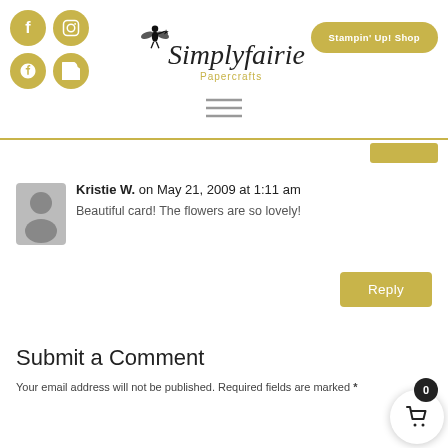[Figure (logo): Simplyfairies Papercrafts logo with fairy silhouette and script text]
Stampin' Up! Shop
Kristie W. on May 21, 2009 at 1:11 am
Beautiful card! The flowers are so lovely!
Reply
Submit a Comment
Your email address will not be published. Required fields are marked *